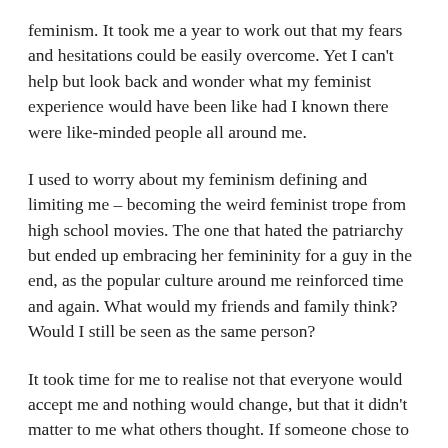feminism. It took me a year to work out that my fears and hesitations could be easily overcome. Yet I can't help but look back and wonder what my feminist experience would have been like had I known there were like-minded people all around me.
I used to worry about my feminism defining and limiting me – becoming the weird feminist trope from high school movies. The one that hated the patriarchy but ended up embracing her femininity for a guy in the end, as the popular culture around me reinforced time and again. What would my friends and family think? Would I still be seen as the same person?
It took time for me to realise not that everyone would accept me and nothing would change, but that it didn't matter to me what others thought. If someone chose to laugh at my opinions, or look in disgust at my unshaved legs then that was their problem, not mine. I realised the only people's opinions I cared about were those who never looked down on me. There